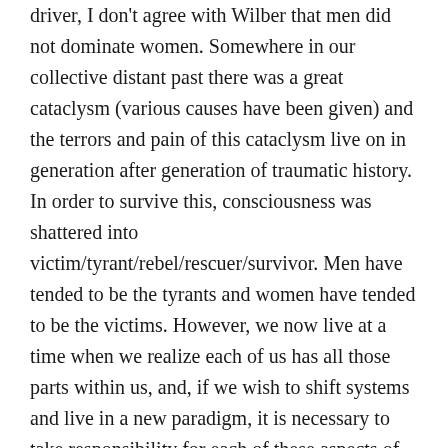driver, I don't agree with Wilber that men did not dominate women. Somewhere in our collective distant past there was a great cataclysm (various causes have been given) and the terrors and pain of this cataclysm live on in generation after generation of traumatic history. In order to survive this, consciousness was shattered into victim/tyrant/rebel/rescuer/survivor. Men have tended to be the tyrants and women have tended to be the victims. However, we now live at a time when we realize each of us has all those parts within us, and, if we wish to shift systems and live in a new paradigm, it is necessary to take responsibility for each of these aspects of ourselves. What keeps us locked in this “prison” of polarized consciousness is both desire and fear. For instance, each of us holds the polarities within of dominance/submission, good/ bad, beneficial/unbeneficial, love/hate, etc. It has been part of my spiritual practice for the last 20 years to use Leslie Temple-Thurston’s Marriage of Spirit process to clear these polarized states in order to move into a